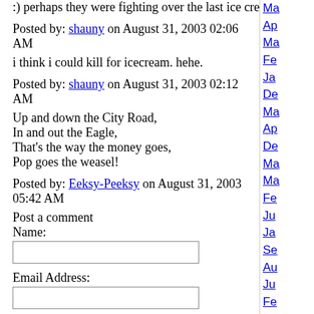:) perhaps they were fighting over the last ice cream...
Posted by: shauny on August 31, 2003 02:06 AM
i think i could kill for icecream. hehe.
Posted by: shauny on August 31, 2003 02:12 AM
Up and down the City Road,
In and out the Eagle,
That's the way the money goes,
Pop goes the weasel!
Posted by: Eeksy-Peeksy on August 31, 2003 05:42 AM
Post a comment
Name:
Email Address:
URL:
Comments: